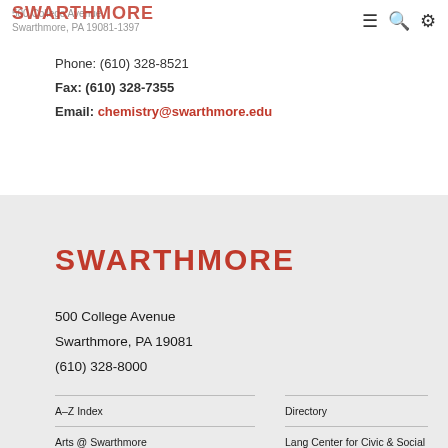500 College Avenue Swarthmore, PA 19081-1397 SWARTHMORE
Phone: (610) 328-8521
Fax: (610) 328-7355
Email: chemistry@swarthmore.edu
SWARTHMORE
500 College Avenue
Swarthmore, PA 19081
(610) 328-8000
A–Z Index
Directory
Arts @ Swarthmore
Lang Center for Civic & Social Responsibility
Calendar
Make A Gift
Campus & Community Store
Offices & Services